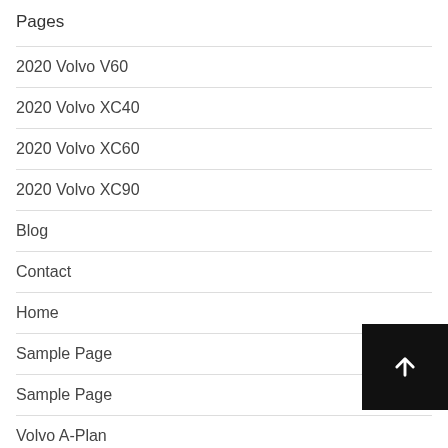Pages
2020 Volvo V60
2020 Volvo XC40
2020 Volvo XC60
2020 Volvo XC90
Blog
Contact
Home
Sample Page
Sample Page
Volvo A-Plan